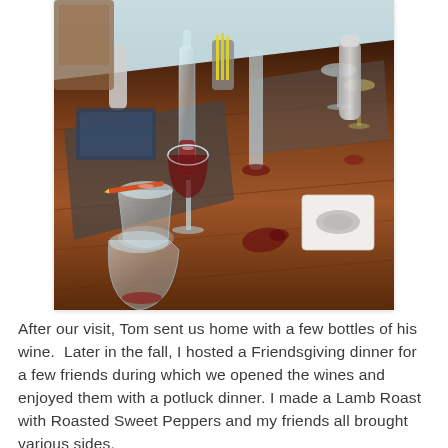[Figure (photo): A dining table set for a wine tasting, viewed from above at an angle. Several wine glasses of various sizes are arranged on a wooden table, some containing red wine. There are decanters, silver cocktail shakers, a pencil, menus or notebooks, a small book or box, and yellow straws in a container. The setting suggests a winery tasting room.]
After our visit, Tom sent us home with a few bottles of his wine.  Later in the fall, I hosted a Friendsgiving dinner for a few friends during which we opened the wines and enjoyed them with a potluck dinner. I made a Lamb Roast with Roasted Sweet Peppers and my friends all brought various sides.